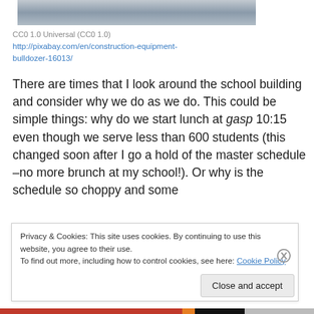[Figure (photo): Partial view of a bulldozer or construction equipment at a construction site, showing sandy/rocky ground.]
CC0 1.0 Universal (CC0 1.0)
http://pixabay.com/en/construction-equipment-bulldozer-16013/
There are times that I look around the school building and consider why we do as we do. This could be simple things: why do we start lunch at gasp 10:15 even though we serve less than 600 students (this changed soon after I go a hold of the master schedule –no more brunch at my school!). Or why is the schedule so choppy and some
Privacy & Cookies: This site uses cookies. By continuing to use this website, you agree to their use.
To find out more, including how to control cookies, see here: Cookie Policy
Close and accept